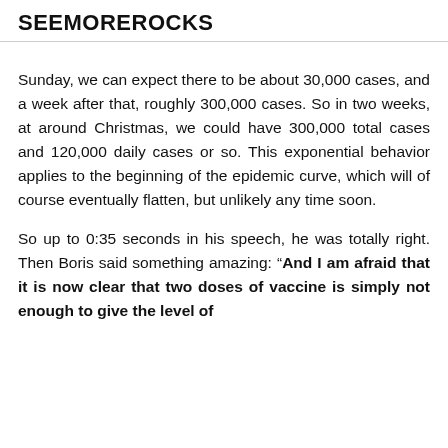SEEMOREROCKS
Sunday, we can expect there to be about 30,000 cases, and a week after that, roughly 300,000 cases. So in two weeks, at around Christmas, we could have 300,000 total cases and 120,000 daily cases or so. This exponential behavior applies to the beginning of the epidemic curve, which will of course eventually flatten, but unlikely any time soon.
So up to 0:35 seconds in his speech, he was totally right. Then Boris said something amazing: “And I am afraid that it is now clear that two doses of vaccine is simply not enough to give the level of